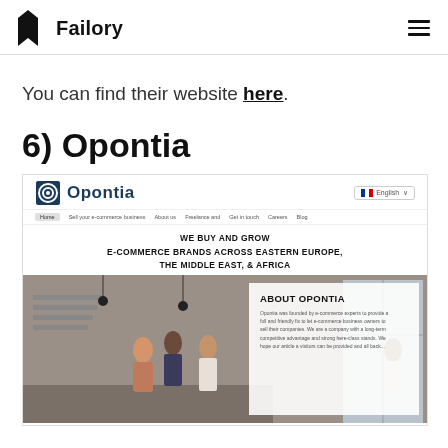Failory
You can find their website here.
6) Opontia
[Figure (screenshot): Screenshot of Opontia website showing logo, navigation bar, headline 'WE BUY AND GROW E-COMMERCE BRANDS ACROSS EASTERN EUROPE, THE MIDDLE EAST, & AFRICA', and an About Opontia section with office photo]
ABOUT OPONTIA